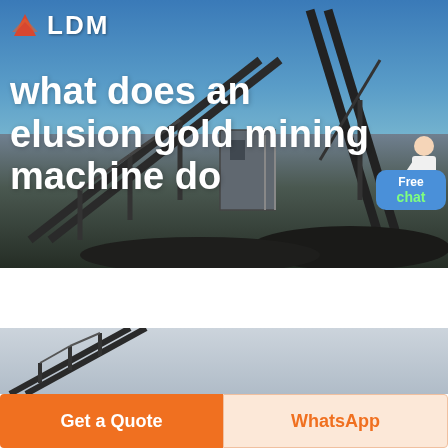[Figure (photo): Hero banner with industrial mining conveyor belt structure against a blue sky background]
what does an elusion gold mining machine do
[Figure (photo): Second industrial mining conveyor belt image with light gray sky background]
Get a Quote
WhatsApp